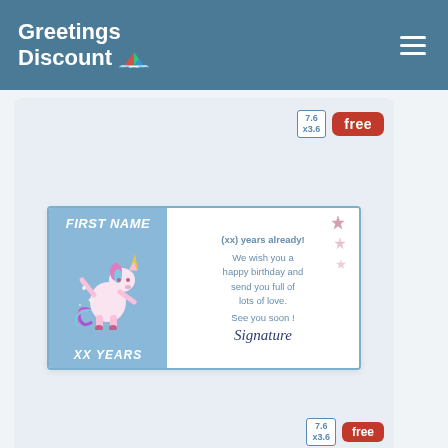[Figure (logo): Greetings Discount logo with colorful sailboat/flag icon on teal header, with hamburger menu icon on right]
[Figure (screenshot): Product card showing a birthday greeting card for children. Top right badges: '7.6 x3.6' size badge and 'free' red badge. Card preview shows: left panel in blue with 'FIRST NAME', unicorn dabbing, 'XX YEARS'; right panel white with '(xx) years already! We wish you a happy birthday and send you full of lots of love. See you soon! Signature'. Stars decoration on right. Below card: 'Birthday Card for Children' button in slate blue.]